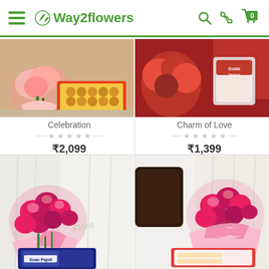Way2flowers - hamburger menu, search, phone, cart (0)
[Figure (photo): Pink roses bouquet with a box of orange ladoo sweets - product photo for Celebration]
Celebration
★★★★★ (empty stars rating)
₹2,099
[Figure (photo): Red roses with a tin of Gulab Jamun sweets - product photo for Charm of Love]
Charm of Love
★★★★★ (empty stars rating)
₹1,399
[Figure (photo): Pink carnations bouquet with Soan Papdi sweet box - product photo]
[Figure (photo): Pink carnations bouquet with ribbon and chocolate/sweet box - product photo]